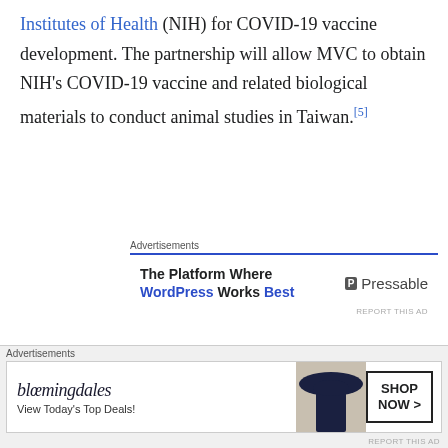Institutes of Health (NIH) for COVID-19 vaccine development. The partnership will allow MVC to obtain NIH's COVID-19 vaccine and related biological materials to conduct animal studies in Taiwan.[5]
[Figure (other): Advertisement banner for Pressable WordPress hosting with text 'The Platform Where WordPress Works Best' and Pressable logo]
On 23 July 2020, Medigen Vaccine Biologics (MVC) announced collaboration with Dynavax Technologies to develop COVID-19 vaccine. The COVID-19 candidate vaccine will have the combination of SARS-CoV2 spike protein created by MVC and Dynavax's vaccine adjuvant CpG 1018, which was used in a previously FDA
[Figure (other): Advertisement banner for Bloomingdale's with text 'View Today's Top Deals!' and SHOP NOW button]